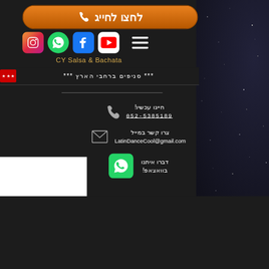[Figure (other): Orange rounded call-to-action button with phone icon and Hebrew text לחצו לחייג (Click to Call)]
[Figure (other): Social media icons row: Instagram, WhatsApp, Facebook, YouTube, and hamburger menu]
CY Salsa & Bachata
***סניפים ברחבי הארץ***
חייגו עכשיו!
052-5385189
צרו קשר במייל
LatinDanceCool@gmail.com
דברו איתנו
בוואצאפ!